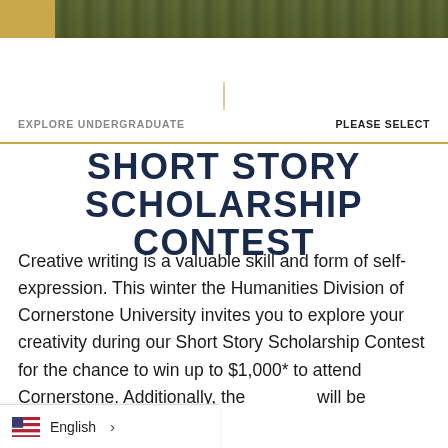[Figure (photo): Outdoor photograph strip showing grass/lawn area with dark green tones, gold corner accent at top left]
EXPLORE UNDERGRADUATE    PLEASE SELECT
SHORT STORY SCHOLARSHIP CONTEST
Creative writing is a valuable skill and form of self-expression. This winter the Humanities Division of Cornerstone University invites you to explore your creativity during our Short Story Scholarship Contest for the chance to win up to $1,000* to attend Cornerstone. Additionally, the will be featured in the 2022
English >